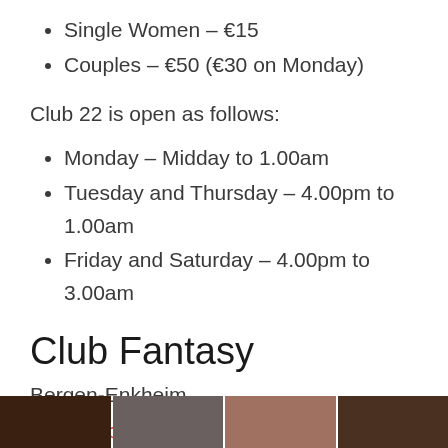Single Women – €15
Couples – €50 (€30 on Monday)
Club 22 is open as follows:
Monday – Midday to 1.00am
Tuesday and Thursday – 4.00pm to 1.00am
Friday and Saturday – 4.00pm to 3.00am
Club Fantasy
Bergen-Enkheim
www.club-fantasy.de
[Figure (photo): Strip of four thumbnail photos at the bottom of the page]